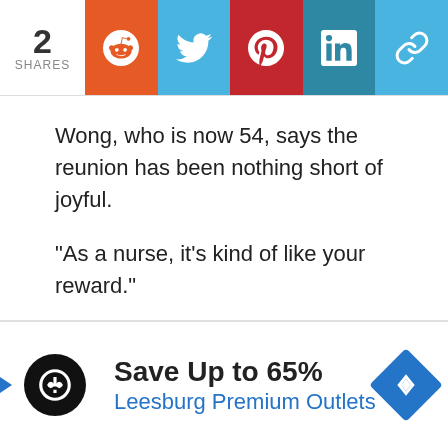[Figure (infographic): Social share bar with count '2 SHARES' and icons for Reddit, Twitter, Pinterest, LinkedIn, and link/chain]
Wong, who is now 54, says the reunion has been nothing short of joyful.
“As a nurse, it’s kind of like your reward.”
Family & Parenting, Good News, Health, News, Viral, Viral News
babies, California, Health News, Human Interest
nicu, graduation, nurses, preemies
[Figure (infographic): Advertisement banner: Save Up to 65% - Leesburg Premium Outlets, with logo and navigation icon]